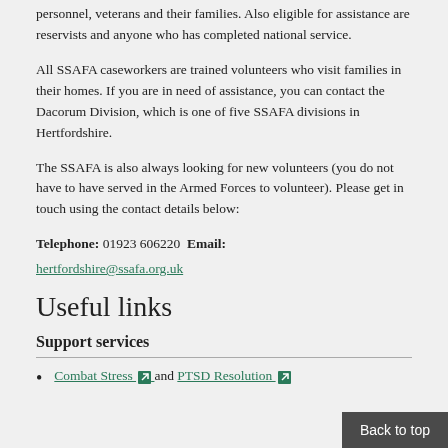personnel, veterans and their families. Also eligible for assistance are reservists and anyone who has completed national service.
All SSAFA caseworkers are trained volunteers who visit families in their homes. If you are in need of assistance, you can contact the Dacorum Division, which is one of five SSAFA divisions in Hertfordshire.
The SSAFA is also always looking for new volunteers (you do not have to have served in the Armed Forces to volunteer). Please get in touch using the contact details below:
Telephone: 01923 606220  Email: hertfordshire@ssafa.org.uk
Useful links
Support services
Combat Stress and PTSD Resolution
Back to top